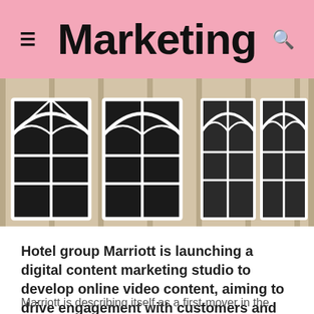Marketing
[Figure (photo): Hotel building facade with arched white-framed windows on a beige stone exterior]
Hotel group Marriott is launching a digital content marketing studio to develop online video content, aiming to drive engagement with customers and create community.
Marriott is describing itself as a first-mover in the content marketing space within the hotel industry.